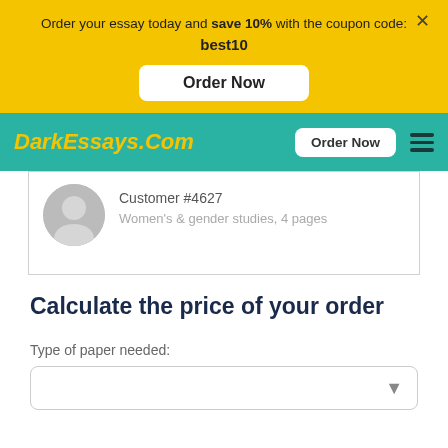Order your essay today and save 10% with the coupon code: best10
[Figure (screenshot): Order Now button on yellow banner]
[Figure (screenshot): DarkEssays.Com navigation bar with teal background, yellow logo, Order Now button, and hamburger menu]
Customer #4627
Women's & gender studies, 4 pages
Calculate the price of your order
Type of paper needed: